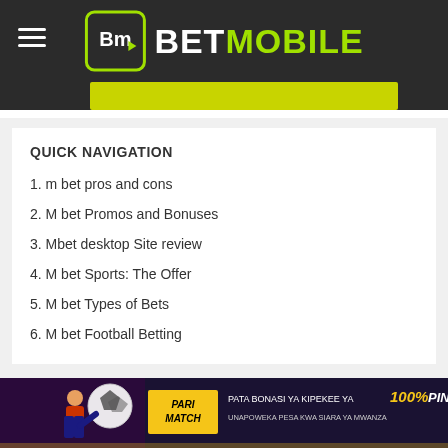BETMOBILE
QUICK NAVIGATION
1. m bet pros and cons
2. M bet Promos and Bonuses
3. Mbet desktop Site review
4. M bet Sports: The Offer
5. M bet Types of Bets
6. M bet Football Betting
[Figure (screenshot): Parimatch advertisement banner: PATA BONASI YA KIPEKEE YA 100% PINDI. UNAPOWEKA PESA KWA SIARA YA MWANZA]